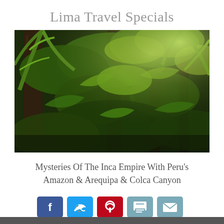Lima Travel Specials
[Figure (photo): Dense tropical jungle with palm trees and lush green foliage, dark and bright contrasting light through canopy]
Mysteries Of The Inca Empire With Peru’s Amazon & Arequipa & Colca Canyon
[Figure (infographic): Row of social sharing buttons: Facebook (blue), Twitter (cyan), Pinterest (red), Print (light blue), Email (light blue)]